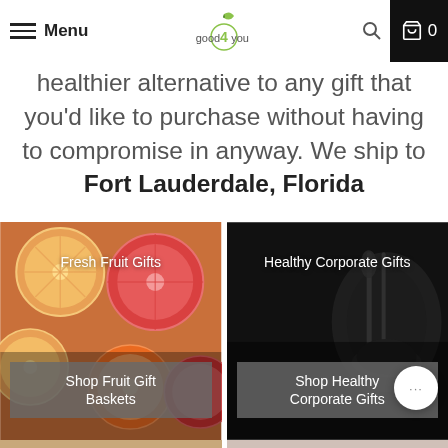Menu | good4you | 0
healthier alternative to any gift that you'd like to purchase without having to compromise in anyway. We ship to Fort Lauderdale, Florida
[Figure (photo): Fresh Fruit Gifts product card showing sliced citrus fruits with button 'Shop Fruit Gift Baskets']
[Figure (photo): Healthy Corporate Gifts product card showing dark background with button 'Shop Healthy Corporate Gifts']
[Figure (photo): Partial bottom-left card, partially visible]
[Figure (photo): Partial bottom-right card, partially visible]